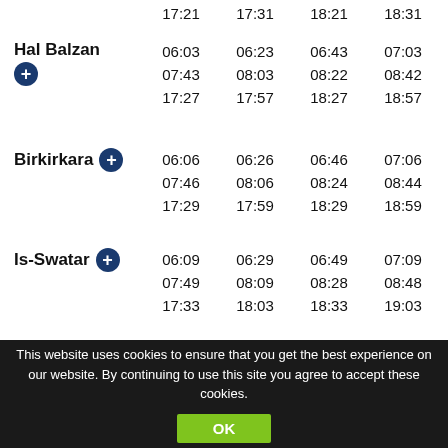|  | 17:21 | 17:31 | 18:21 | 18:31 |  |
| Hal Balzan | 06:03 | 06:23 | 06:43 | 07:03 | 07:23 |
|  | 07:43 | 08:03 | 08:22 | 08:42 | 16:57 |
|  | 17:27 | 17:57 | 18:27 | 18:57 |  |
| Birkirkara | 06:06 | 06:26 | 06:46 | 07:06 | 07:26 |
|  | 07:46 | 08:06 | 08:24 | 08:44 | 16:59 |
|  | 17:29 | 17:59 | 18:29 | 18:59 |  |
| Is-Swatar | 06:09 | 06:29 | 06:49 | 07:09 | 07:29 |
|  | 07:49 | 08:09 | 08:28 | 08:48 | 17:03 |
|  | 17:33 | 18:03 | 18:33 | 19:03 |  |
| L-Imsida | 06:14 | 06:34 | 06:54 | 07:14 | 07:34 |
|  | 07:54 | 08:14 | 08:32 | 08:52 | 17:07 |
|  | 17:37 | 18:07 | 18:37 | 19:07 |  |
This website uses cookies to ensure that you get the best experience on our website. By continuing to use this site you agree to accept these cookies.